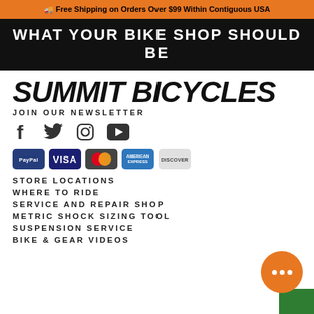🚚 Free Shipping on Orders Over $99 Within Contiguous USA
WHAT YOUR BIKE SHOP SHOULD BE
SUMMIT BICYCLES
JOIN OUR NEWSLETTER
[Figure (infographic): Social media icons: Facebook, Twitter, Instagram, YouTube]
[Figure (infographic): Payment method badges: PayPal, Visa, Mastercard, American Express, Discover]
STORE LOCATIONS
WHERE TO RIDE
SERVICE AND REPAIR SHOP
METRIC SHOCK SIZING TOOL
SUSPENSION SERVICE
BIKE & GEAR VIDEOS